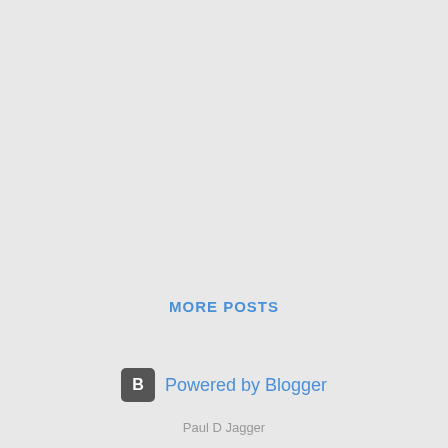MORE POSTS
[Figure (logo): Blogger logo icon (grey rounded square with white B) followed by 'Powered by Blogger' text in blue]
Paul D Jagger